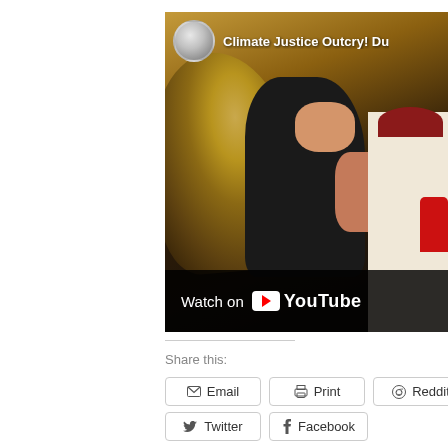[Figure (screenshot): YouTube video thumbnail showing 'Climate Justice Outcry! Du...' with people in a crowded scene, a Watch on YouTube bar at the bottom]
Share this:
Email
Print
Reddit
Twitter
Facebook